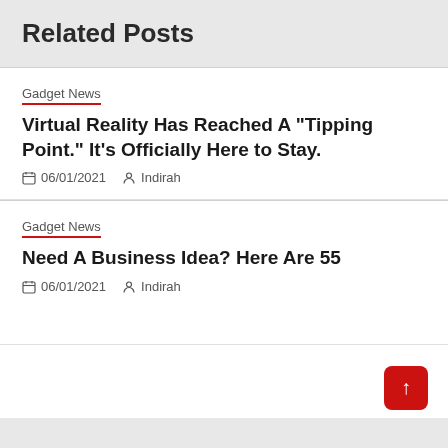Related Posts
Gadget News
Virtual Reality Has Reached A “Tipping Point.” It’s Officially Here to Stay.
06/01/2021  Indirah
Gadget News
Need A Business Idea? Here Are 55
06/01/2021  Indirah